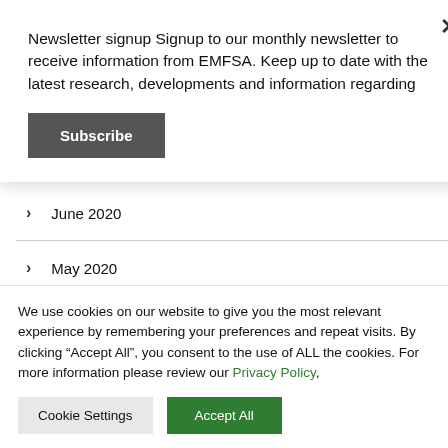Newsletter signup Signup to our monthly newsletter to receive information from EMFSA. Keep up to date with the latest research, developments and information regarding
Subscribe
> June 2020
> May 2020
> April 2020
We use cookies on our website to give you the most relevant experience by remembering your preferences and repeat visits. By clicking “Accept All”, you consent to the use of ALL the cookies. For more information please review our Privacy Policy,
Cookie Settings
Accept All